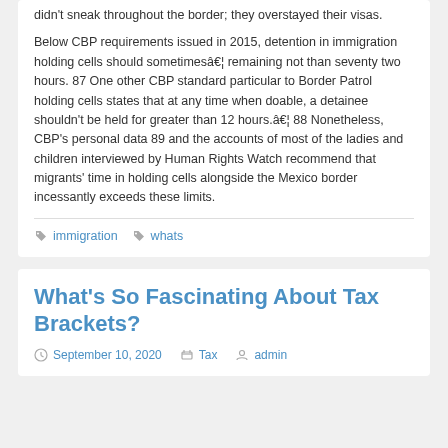didn't sneak throughout the border; they overstayed their visas.
Below CBP requirements issued in 2015, detention in immigration holding cells should sometimesâ€¦ remaining not than seventy two hours. 87 One other CBP standard particular to Border Patrol holding cells states that at any time when doable, a detainee shouldn’t be held for greater than 12 hours.â€¦ 88 Nonetheless, CBP’s personal data 89 and the accounts of most of the ladies and children interviewed by Human Rights Watch recommend that migrants’ time in holding cells alongside the Mexico border incessantly exceeds these limits.
immigration
whats
What’s So Fascinating About Tax Brackets?
September 10, 2020   Tax   admin